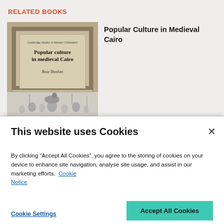RELATED BOOKS
[Figure (illustration): Book cover of 'Popular culture in medieval Cairo' by Boaz Shoshan, part of Cambridge Studies in Islamic Civilization series. Tan/grey cover with decorative border and a sketch of medieval figures below.]
Popular Culture in Medieval Cairo
This website uses Cookies
By clicking “Accept All Cookies”, you agree to the storing of cookies on your device to enhance site navigation, analyse site usage, and assist in our marketing efforts.  Cookie Notice
Cookie Settings
Accept All Cookies